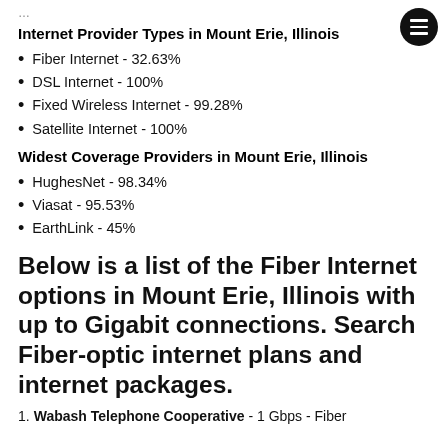Internet Provider Types in Mount Erie, Illinois
Fiber Internet - 32.63%
DSL Internet - 100%
Fixed Wireless Internet - 99.28%
Satellite Internet - 100%
Widest Coverage Providers in Mount Erie, Illinois
HughesNet - 98.34%
Viasat - 95.53%
EarthLink - 45%
Below is a list of the Fiber Internet options in Mount Erie, Illinois with up to Gigabit connections. Search Fiber-optic internet plans and internet packages.
Wabash Telephone Cooperative - 1 Gbps - Fiber